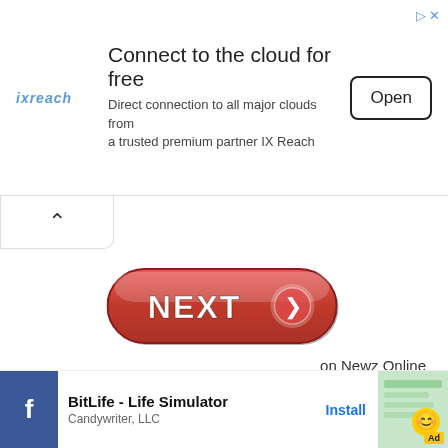[Figure (screenshot): Advertisement banner for ixreach: 'Connect to the cloud for free. Direct connection to all major clouds from a trusted premium partner IX Reach.' with an Open button.]
[Figure (screenshot): Collapse/chevron-up button at top left below the ad banner.]
[Figure (screenshot): Red rounded NEXT button with white bold text 'NEXT' and a right-arrow circle icon on the right side.]
on Newz Online
Nathan T. Gunn is one of America's best-known and well-r...out
[Figure (screenshot): Bottom ad overlay: Facebook icon, BitLife - Life Simulator by Candywriter, LLC with Install button, and an app screenshot with Ad badge.]